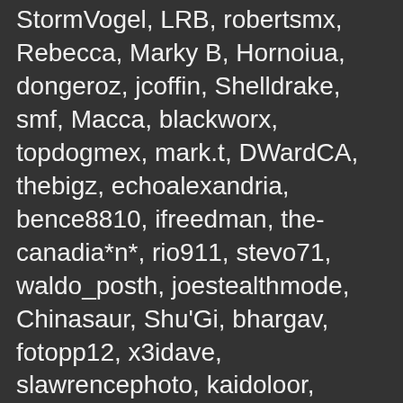StormVogel, LRB, robertsmx, Rebecca, Marky B, Hornoiua, dongeroz, jcoffin, Shelldrake, smf, Macca, blackworx, topdogmex, mark.t, DWardCA, thebigz, echoalexandria, bence8810, ifreedman, the-canadia*n*, rio911, stevo71, waldo_posth, joestealthmode, Chinasaur, Shu'Gi, bhargav, fotopp12, x3idave, slawrencephoto, kaidoloor, StPeter, The Emrys, klw10, jon925, Dr.Rex, Dash66, Bassplayer, Gary C, Ends of Places, Sortarivs, Atom Ant, beardedspoooon, Munguia, bigwave, MoonGazer, MacManus, woconomi, clk230, usaterry, gypsy_spiwit, gregja, stavros78, Aavo, Majestictone, lifesshort, Fredrick